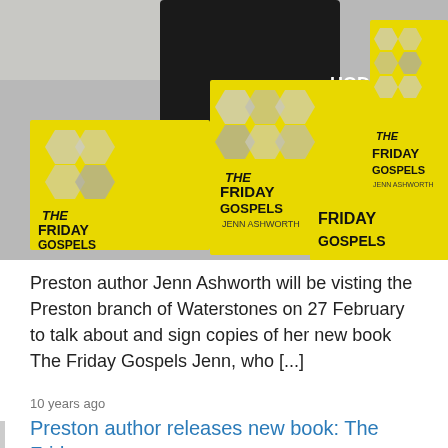[Figure (photo): Photo of multiple copies of the book 'The Friday Gospels' by Jenn Ashworth on display. The books have bright yellow covers with hexagonal photo patterns. A Hodder & Stoughton sign is visible in the background.]
Preston author Jenn Ashworth will be visting the Preston branch of Waterstones on 27 February to talk about and sign copies of her new book The Friday Gospels Jenn, who [...]
10 years ago
Preston author releases new book: The Friday